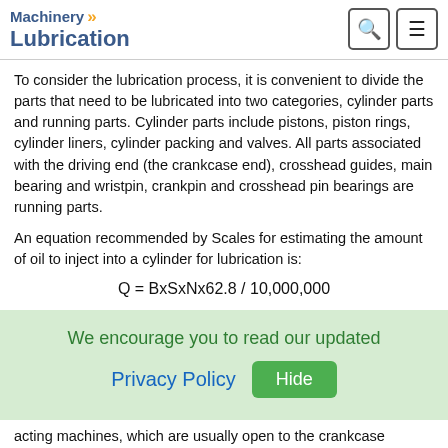Machinery Lubrication
To consider the lubrication process, it is convenient to divide the parts that need to be lubricated into two categories, cylinder parts and running parts. Cylinder parts include pistons, piston rings, cylinder liners, cylinder packing and valves. All parts associated with the driving end (the crankcase end), crosshead guides, main bearing and wristpin, crankpin and crosshead pin bearings are running parts.
An equation recommended by Scales for estimating the amount of oil to inject into a cylinder for lubrication is:
Where: B is the bore size (inches), S is the stroke (inches), N is the rotational speed (rpm) and Q is the usage rate expressed as
We encourage you to read our updated
Privacy Policy
acting machines, which are usually open to the crankcase